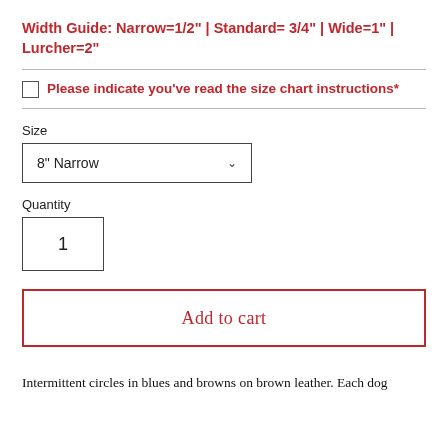Width Guide: Narrow=1/2" | Standard= 3/4" | Wide=1" | Lurcher=2"
Please indicate you've read the size chart instructions*
Size
8" Narrow
Quantity
1
Add to cart
Intermittent circles in blues and browns on brown leather. Each dog